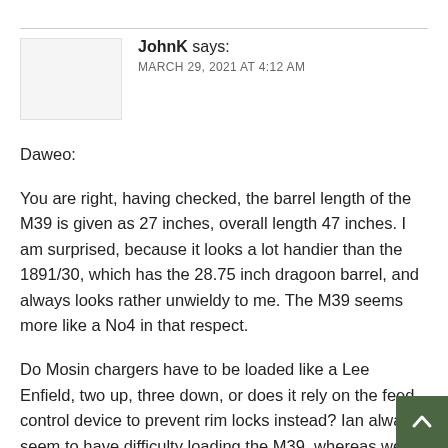JohnK says:
MARCH 29, 2021 AT 4:12 AM
Daweo:
You are right, having checked, the barrel length of the M39 is given as 27 inches, overall length 47 inches. I am surprised, because it looks a lot handier than the 1891/30, which has the 28.75 inch dragoon barrel, and always looks rather unwieldy to me. The M39 seems more like a No4 in that respect.
Do Mosin chargers have to be loaded like a Lee Enfield, two up, three down, or does it rely on the feed control device to prevent rim locks instead? Ian always seem to have difficulty loading the M39, whereas we saw that the No4 and MAS36 had no such problems in that rega...